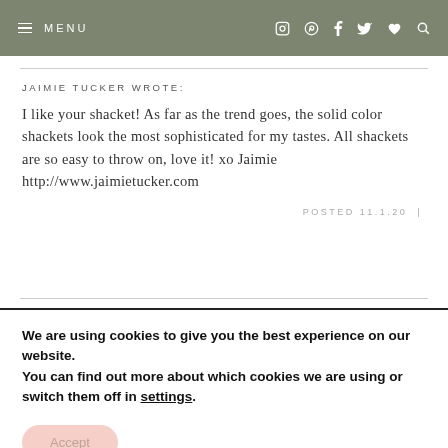≡ MENU
JAIMIE TUCKER WROTE:
I like your shacket! As far as the trend goes, the solid color shackets look the most sophisticated for my tastes. All shackets are so easy to throw on, love it! xo Jaimie http://www.jaimietucker.com
POSTED 11.1.20 |
We are using cookies to give you the best experience on our website.
You can find out more about which cookies we are using or switch them off in settings.
Accept